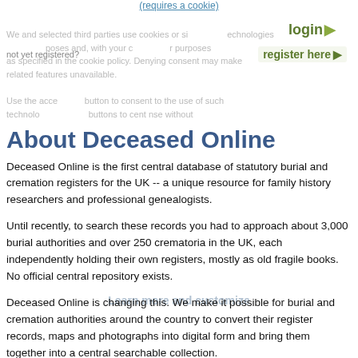(requires a cookie)
login ▶
not yet registered?
register here ▶
We and selected third parties use cookies or similar technologies for your purposes and, with your consent, for other purposes as specified in the cookie policy. Denying consent may make related features unavailable.
Use the Accept button to consent to the use of such technologies. Learn more and customize button to consent without accepting.
About Deceased Online
Deceased Online is the first central database of statutory burial and cremation registers for the UK -- a unique resource for family history researchers and professional genealogists.
Until recently, to search these records you had to approach about 3,000 burial authorities and over 250 crematoria in the UK, each independently holding their own registers, mostly as old fragile books. No official central repository exists.
Learn more and customize
Deceased Online is changing this. We make it possible for burial and cremation authorities around the country to convert their register records, maps and photographs into digital form and bring them together into a central searchable collection.
Our growing database, holding records mainly from the 1850s onwards (but some dating back to the 1600's), can provide invaluable information for researching family trees, and can reveal previously unknown family links from other interments recorded in the same grave.
The site was launched in July 2009, and over the years we have been growing our substantial database of tens of millions of burial and cremation records. We are continually adding data from all over the UK as new burial